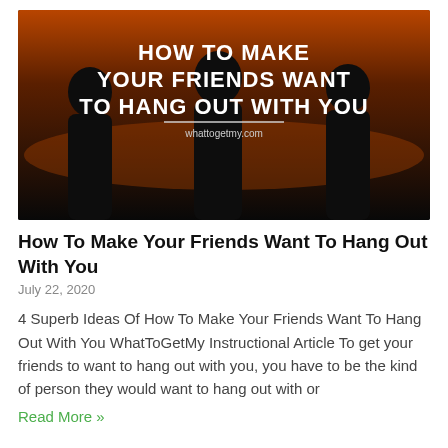[Figure (illustration): Dark silhouette image of three people with orange/dark background sunset sky. White bold uppercase text overlay reads: HOW TO MAKE YOUR FRIENDS WANT TO HANG OUT WITH YOU. Below the text a thin white line and small text: whattogetmy.com]
How To Make Your Friends Want To Hang Out With You
July 22, 2020
4 Superb Ideas Of How To Make Your Friends Want To Hang Out With You WhatToGetMy Instructional Article To get your friends to want to hang out with you, you have to be the kind of person they would want to hang out with or
Read More »